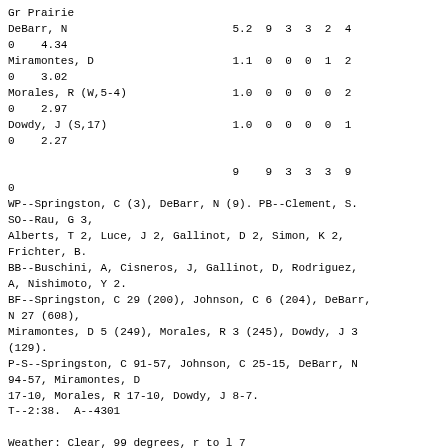Gr Prairie
DeBarr, N                         5.2  9  3  3  2  4
0    4.34
Miramontes, D                     1.1  0  0  0  1  2
0    3.02
Morales, R (W,5-4)                1.0  0  0  0  0  2
0    2.97
Dowdy, J (S,17)                   1.0  0  0  0  0  1
0    2.27

                                  9    9  3  3  3  9
0
WP--Springston, C (3), DeBarr, N (9). PB--Clement, S.
SO--Rau, G 3,
Alberts, T 2, Luce, J 2, Gallinot, D 2, Simon, K 2,
Frichter, B.
BB--Buschini, A, Cisneros, J, Gallinot, D, Rodriguez,
A, Nishimoto, Y 2.
BF--Springston, C 29 (200), Johnson, C 6 (204), DeBarr,
N 27 (608),
Miramontes, D 5 (249), Morales, R 3 (245), Dowdy, J 3
(129).
P-S--Springston, C 91-57, Johnson, C 25-15, DeBarr, N
94-57, Miramontes, D
17-10, Morales, R 17-10, Dowdy, J 8-7.
T--2:38.  A--4301

Weather: Clear, 99 degrees, r to l 7
Plate Umpire - Justin Anderton, Field Umpire #1 -
Shaylor Smith, Field Umpire #3 - Dixon Sturman